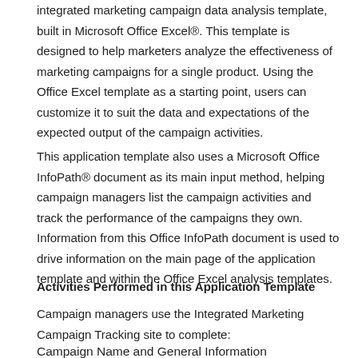integrated marketing campaign data analysis template, built in Microsoft Office Excel®. This template is designed to help marketers analyze the effectiveness of marketing campaigns for a single product. Using the Office Excel template as a starting point, users can customize it to suit the data and expectations of the expected output of the campaign activities.
This application template also uses a Microsoft Office InfoPath® document as its main input method, helping campaign managers list the campaign activities and track the performance of the campaigns they own. Information from this Office InfoPath document is used to drive information on the main page of the application template and within the Office Excel analysis templates.
Activities Performed in this Application Template
Campaign managers use the Integrated Marketing Campaign Tracking site to complete:
Campaign Name and General Information